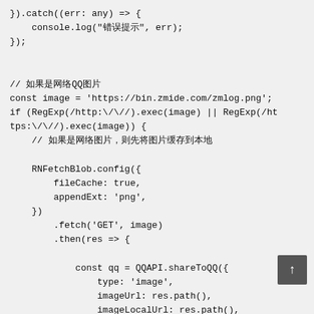}).catch((err: any) => {
    console.log("錯誤提示", err);
});


// 如果是網絡QQ圖片
const image = 'https://bin.zmide.com/zmlog.png';
if (RegExp(/http:\/\//). exec(image) || RegExp(/ht
tps:\/\//). exec(image)) {
    // 如果是網絡圖片，則先將圖片緩存到本地

    RNFetchBlob.config({
        fileCache: true,
        appendExt: 'png',
    })
        .fetch('GET', image)
        .then(res => {

            const qq = QQAPI.shareToQQ({
                type: 'image',
                imageUrl: res.path(),
                imageLocalUrl: res.path(),
            });
            qq.then((res: any) => {